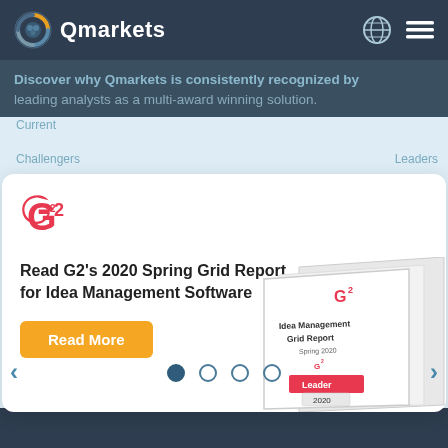Qmarkets
Discover why Qmarkets is consistently recognized by leading analysts as a multi-award winning solution.
Current
Challengers
Leaders
[Figure (infographic): White card featuring G2 logo, text 'Read G2's 2020 Spring Grid Report for Idea Management Software', a Read More orange button, and a book/report mockup image showing 'Idea Management Grid Report Spring 2020 Leader 2020']
Current
Offering
Read More